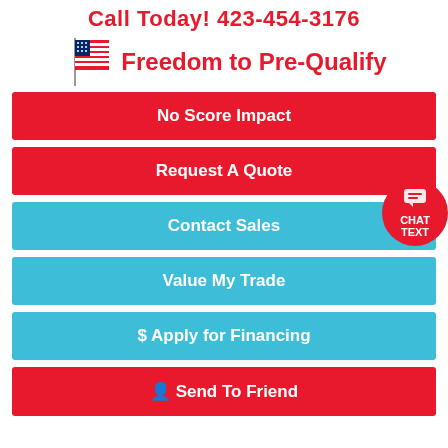Call Today! 423-454-3176
Freedom to Pre-Qualify
No Score Impact
Request A Quote
[Figure (illustration): Chat/Text button circle badge in red with speech bubble icon, CHAT, TEXT labels]
Contact Sales
Value My Trade
$ Apply for Financing
Send To Friend